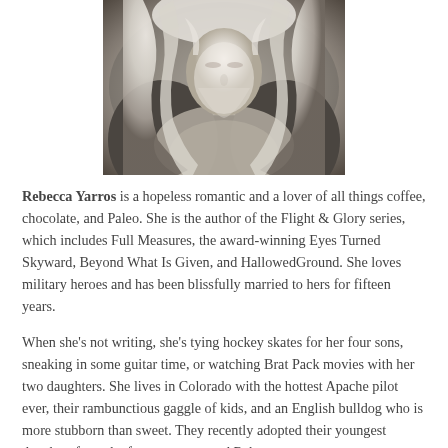[Figure (photo): Black and white portrait photo of a woman with long light hair and a scarf, looking down slightly]
Rebecca Yarros is a hopeless romantic and a lover of all things coffee, chocolate, and Paleo. She is the author of the Flight & Glory series, which includes Full Measures, the award-winning Eyes Turned Skyward, Beyond What Is Given, and HallowedGround. She loves military heroes and has been blissfully married to hers for fifteen years.
When she's not writing, she's tying hockey skates for her four sons, sneaking in some guitar time, or watching Brat Pack movies with her two daughters. She lives in Colorado with the hottest Apache pilot ever, their rambunctious gaggle of kids, and an English bulldog who is more stubborn than sweet. They recently adopted their youngest daughter from the foster system, and Rebecca is passionate about helping others do the same.